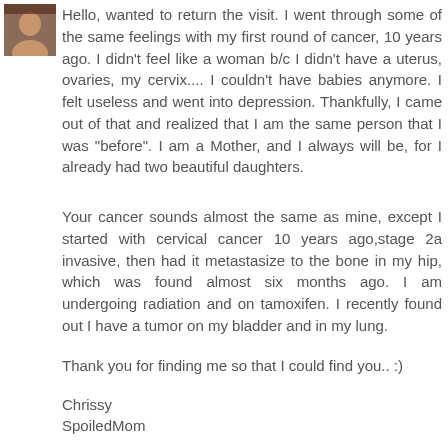[Figure (photo): Small avatar photo of a person, top-left corner]
Hello, wanted to return the visit. I went through some of the same feelings with my first round of cancer, 10 years ago. I didn't feel like a woman b/c I didn't have a uterus, ovaries, my cervix.... I couldn't have babies anymore. I felt useless and went into depression. Thankfully, I came out of that and realized that I am the same person that I was "before". I am a Mother, and I always will be, for I already had two beautiful daughters.
Your cancer sounds almost the same as mine, except I started with cervical cancer 10 years ago,stage 2a invasive, then had it metastasize to the bone in my hip, which was found almost six months ago. I am undergoing radiation and on tamoxifen. I recently found out I have a tumor on my bladder and in my lung.
Thank you for finding me so that I could find you.. :)
Chrissy
SpoiledMom
Reply